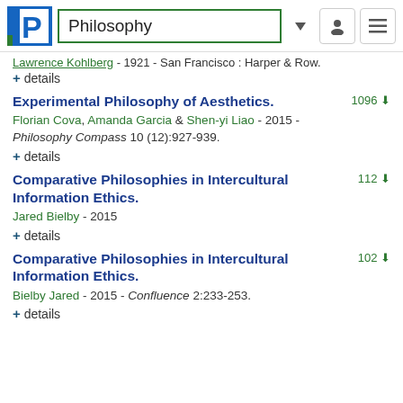[Figure (screenshot): Philosophy database website header with logo, search box showing 'Philosophy', dropdown arrow, user icon button, and menu icon button]
Lawrence Kohlberg - 1921 - San Francisco : Harper & Row.
+ details
Experimental Philosophy of Aesthetics.
Florian Cova, Amanda Garcia & Shen-yi Liao - 2015 - Philosophy Compass 10 (12):927-939.
+ details
Comparative Philosophies in Intercultural Information Ethics.
Jared Bielby - 2015
+ details
Comparative Philosophies in Intercultural Information Ethics.
Bielby Jared - 2015 - Confluence 2:233-253.
+ details